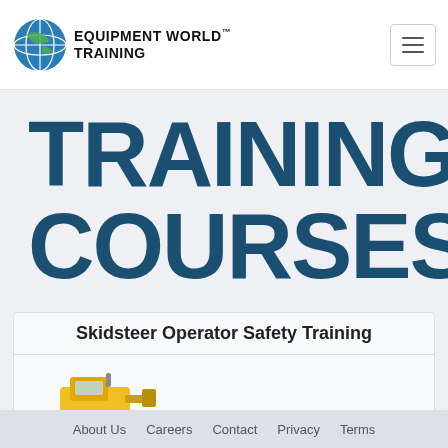[Figure (logo): Equipment World Training logo with globe icon and bold uppercase text]
TRAINING COURSES
Skidsteer Operator Safety Training
[Figure (illustration): Yellow skidsteer loader machine illustration]
About Us   Careers   Contact   Privacy   Terms